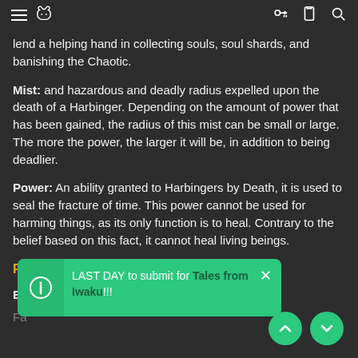Navigation header with menu, rabbit icon, key, clipboard, and search icons
lend a helping hand in collecting souls, soul shards, and banishing the Chaotic.
Mist: and hazardous and deadly radius expelled upon the death of a Harbinger. Depending on the amount of power that has been gained, the radius of this mist can be small or large. The more the power, the larger it will be, in addition to being deadlier.
Power: An ability granted to Harbingers by Death, it is used to seal the fracture of time. This power cannot be used for harming things, as its only function is to heal. Contrary to the belief based on this fact, it cannot heal living beings.
Playable Beings
Elves: Combat specialists
Fa[obscured by popup]
Kitsune: Magick specialists
LAST DAY to submit for Tales from Iwaku!!!